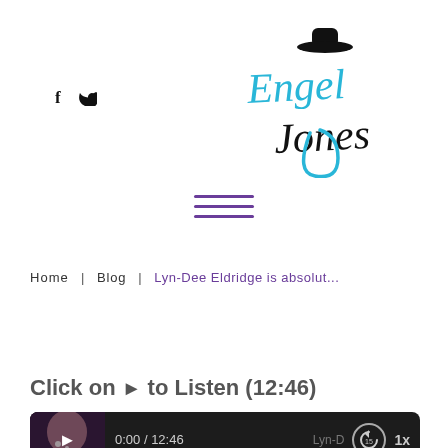[Figure (logo): Engel Jones logo with hat icon, 'Engel' in cyan/blue brush script and 'Jones' in black handwritten style]
[Figure (other): Social media icons: f (Facebook) and bird (Twitter) in black]
[Figure (other): Hamburger menu icon with three purple horizontal lines]
Home  |  Blog  |  Lyn-Dee Eldridge is absolut...
Click on ▶ to Listen (12:46)
[Figure (screenshot): Audio player with dark background showing thumbnail image on left, play button, time 0:00 / 12:46, title 'Lyn-D', rewind 15s button, and 1x speed button]